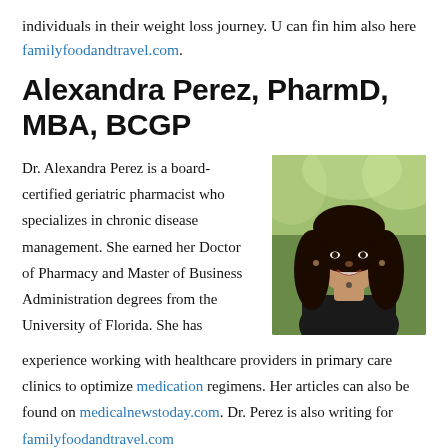individuals in their weight loss journey. U can fin him also here familyfoodandtravel.com.
Alexandra Perez, PharmD, MBA, BCGP
[Figure (photo): Professional headshot of Dr. Alexandra Perez, a woman with long dark wavy hair, smiling, wearing a dark top, photographed outdoors with green foliage in background.]
Dr. Alexandra Perez is a board-certified geriatric pharmacist who specializes in chronic disease management. She earned her Doctor of Pharmacy and Master of Business Administration degrees from the University of Florida. She has experience working with healthcare providers in primary care clinics to optimize medication regimens. Her articles can also be found on medicalnewstoday.com. Dr. Perez is also writing for familyfoodandtravel.com